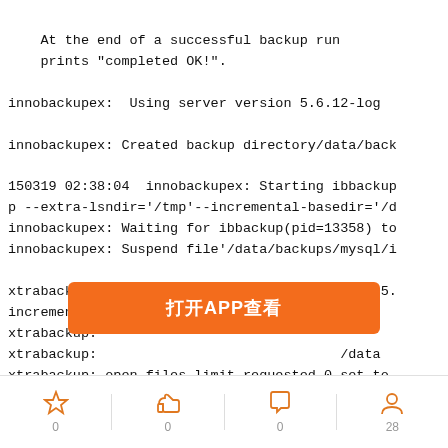At the end of a successful backup run prints "completed OK!".
innobackupex:  Using server version 5.6.12-log
innobackupex: Created backup directory/data/back
150319 02:38:04  innobackupex: Starting ibbackup p --extra-lsndir='/tmp'--incremental-basedir='/d innobackupex: Waiting for ibbackup(pid=13358) to innobackupex: Suspend file'/data/backups/mysql/i
xtrabackup version 2.2.9 based on MySQLserver 5. incremental backup from 430030064 isenabled. xtrabackup: xtrabackup: /data xtrabackup: open files limit requested 0,set to xtrabackup: using the following InnoDBconfigurat xtrabackup:   innodb_data_home_dir = ./
[Figure (infographic): Orange overlay banner with Chinese text '打开APP查看' (Open APP to view)]
0  0  0  28 (star, thumbs-up, comment, user icons)